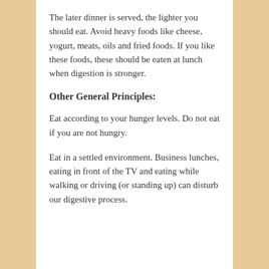The later dinner is served, the lighter you should eat. Avoid heavy foods like cheese, yogurt, meats, oils and fried foods. If you like these foods, these should be eaten at lunch when digestion is stronger.
Other General Principles:
Eat according to your hunger levels. Do not eat if you are not hungry.
Eat in a settled environment. Business lunches, eating in front of the TV and eating while walking or driving (or standing up) can disturb our digestive process.